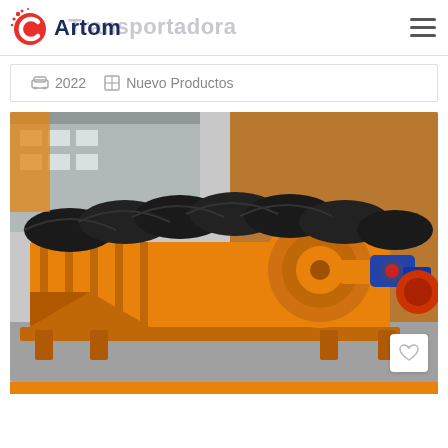Artom Transportadora
2022   Nuevo Productos
[Figure (photo): Large orange industrial conveyor / screw washing machine with black rubber belt/spiral on top, blue electric motor mounted on the side, photographed outdoors in a factory yard. The machine is heavy industrial equipment painted bright orange.]